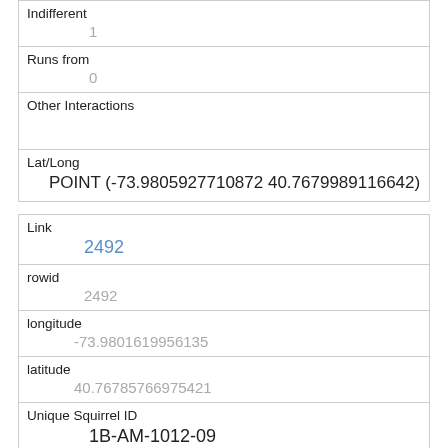| Indifferent | 1 |
| Runs from | 0 |
| Other Interactions |  |
| Lat/Long | POINT (-73.9805927710872 40.7679989116642) |
| Link | 2492 |
| rowid | 2492 |
| longitude | -73.9801619956135 |
| latitude | 40.76785766975421 |
| Unique Squirrel ID | 1B-AM-1012-09 |
| Hectare |  |